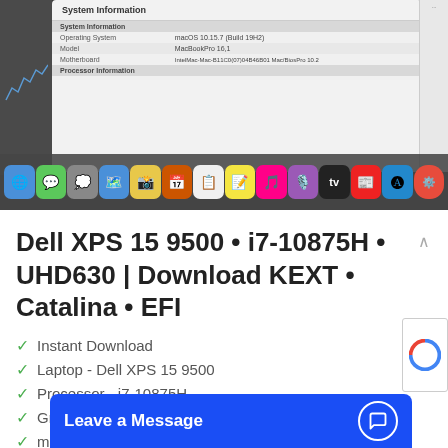[Figure (screenshot): macOS screenshot showing System Information window with OS details and Mac Dock at the bottom with application icons]
Dell XPS 15 9500 • i7-10875H • UHD630 | Download KEXT • Catalina • EFI
Instant Download
Laptop - Dell XPS 15 9500
Processor - i7-10875H
Graphics Card -
macOS - Catali...
[Figure (screenshot): Leave a Message chat widget banner at the bottom]